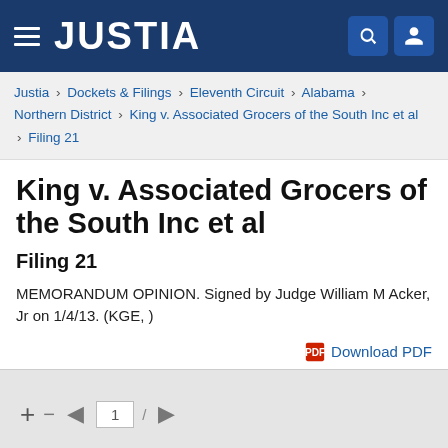JUSTIA
Justia › Dockets & Filings › Eleventh Circuit › Alabama › Northern District › King v. Associated Grocers of the South Inc et al › Filing 21
King v. Associated Grocers of the South Inc et al
Filing 21
MEMORANDUM OPINION. Signed by Judge William M Acker, Jr on 1/4/13. (KGE, )
Download PDF
[Figure (screenshot): PDF viewer navigation controls showing +, -, back arrow, page 1 input box, forward arrow]